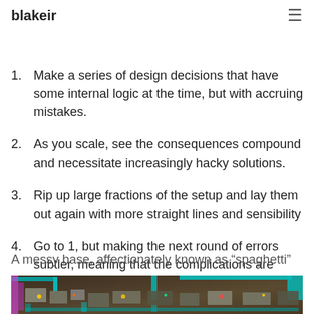impossible to scale. So the basic loop in the game is:
blakeir
Make a series of design decisions that have some internal logic at the time, but with accruing mistakes.
As you scale, see the consequences compound and necessitate increasingly hacky solutions.
Rip up large fractions of the setup and lay them out again with more straight lines and sensibility
Go to 1, but making the next round of errors subtler, meaning that the complications are correspondingly hard to fix.
A messy base, affectionately known as “spaghetti”
[Figure (photo): Screenshot of a Factorio game showing a messy spaghetti base with conveyor belts, machines, and structures arranged in an disorganized layout on a dirt terrain.]